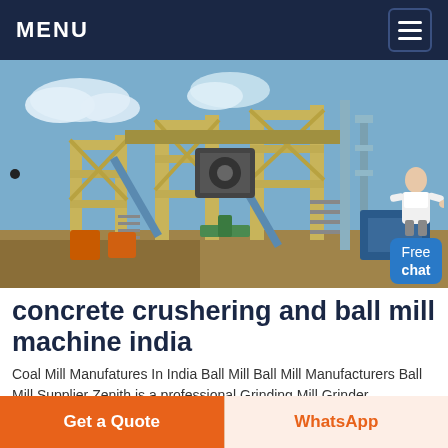MENU
[Figure (photo): Industrial mining/crushing plant machinery with yellow steel frame structures, conveyors, and equipment under a blue sky with clouds]
concrete crushering and ball mill machine india
Coal Mill Manufatures In India Ball Mill Ball Mill Manufacturers Ball Mill Supplier Zenith is a professional Grinding Mill Grinder Equipment Manufacturers and
Get a Quote | WhatsApp